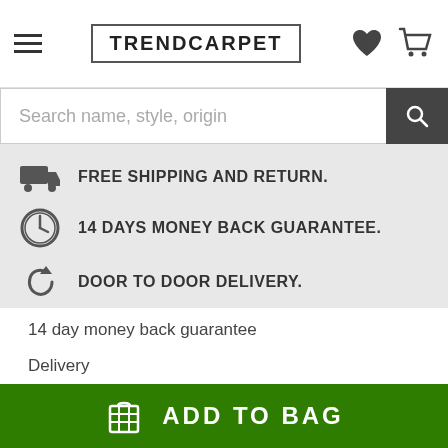TRENDCARPET
Search name, style, origin
FREE SHIPPING AND RETURN.
14 DAYS MONEY BACK GUARANTEE.
DOOR TO DOOR DELIVERY.
14 day money back guarantee
Delivery
Terms and conditions
About us
Contact us
Blog
ADD TO BAG